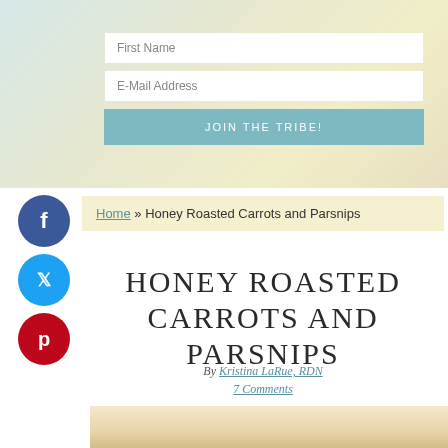[Figure (screenshot): Email signup form with First Name field, E-Mail Address field, and JOIN THE TRIBE! button on a soft watercolor background]
[Figure (infographic): Social share buttons: Facebook (dark blue circle with f), Twitter (light blue circle with bird icon), Pinterest (red circle with p)]
Home » Honey Roasted Carrots and Parsnips
HONEY ROASTED CARROTS AND PARSNIPS
By Kristina LaRue, RDN
7 Comments
I've always hated carrots.
[Figure (photo): Bottom portion of a food photo showing what appears to be roasted carrots and parsnips in warm golden/tan tones]